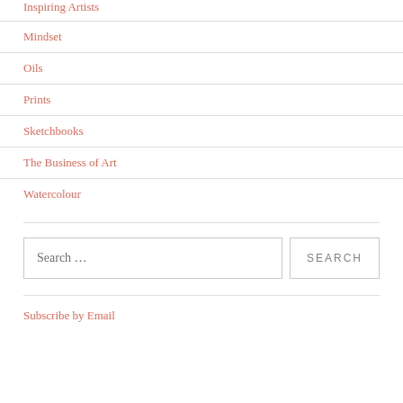Inspiring Artists
Mindset
Oils
Prints
Sketchbooks
The Business of Art
Watercolour
Search …
Subscribe by Email